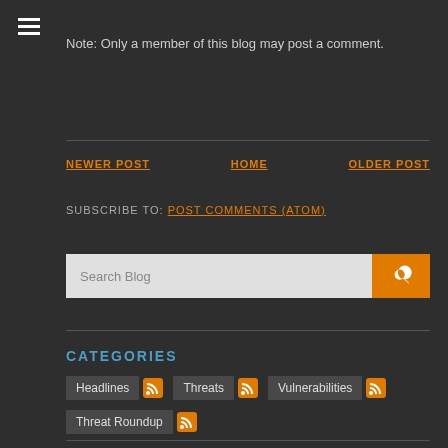Note: Only a member of this blog may post a comment.
NEWER POST   HOME   OLDER POST
SUBSCRIBE TO: POST COMMENTS (ATOM)
[Figure (other): Search blog input field with orange search button]
CATEGORIES
Headlines
Threats
Vulnerabilities
Threat Roundup